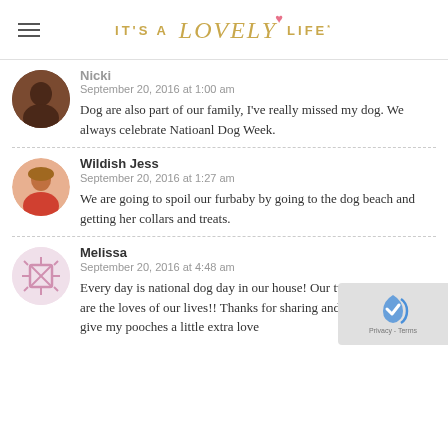IT'S A Lovely LIFE
Nicki
September 20, 2016 at 1:00 am
Dog are also part of our family, I've really missed my dog. We always celebrate Natioanl Dog Week.
Wildish Jess
September 20, 2016 at 1:27 am
We are going to spoil our furbaby by going to the dog beach and getting her collars and treats.
Melissa
September 20, 2016 at 4:48 am
Every day is national dog day in our house! Our two rescue dogs are the loves of our lives!! Thanks for sharing and the reminder to give my pooches a little extra love